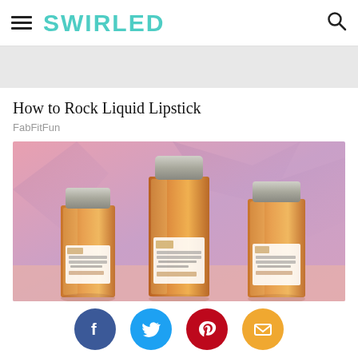SWIRLED
How to Rock Liquid Lipstick
FabFitFun
[Figure (photo): Three perfume bottles from 'The Healthy Fragrance' Lavande line by Lavanila, arranged on a pink background with lavender shadow accents. The bottles are amber-tinted glass with silver caps and white labels.]
[Figure (infographic): Social sharing icons row: Facebook (blue), Twitter (light blue), Pinterest (red), Email (amber/gold)]